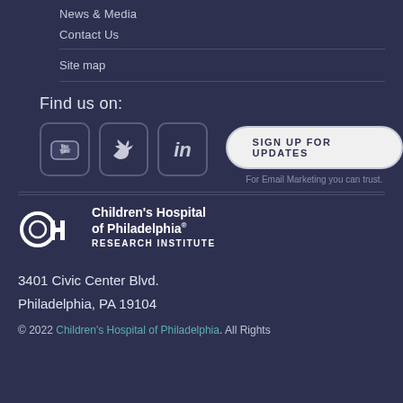News & Media
Contact Us
Site map
Find us on:
[Figure (logo): YouTube, Twitter, and LinkedIn social media icons in rounded square boxes]
[Figure (other): SIGN UP FOR UPDATES button with 'For Email Marketing you can trust.' text below]
[Figure (logo): Children's Hospital of Philadelphia Research Institute logo with CH icon]
3401 Civic Center Blvd.
Philadelphia, PA 19104
© 2022 Children's Hospital of Philadelphia. All Rights